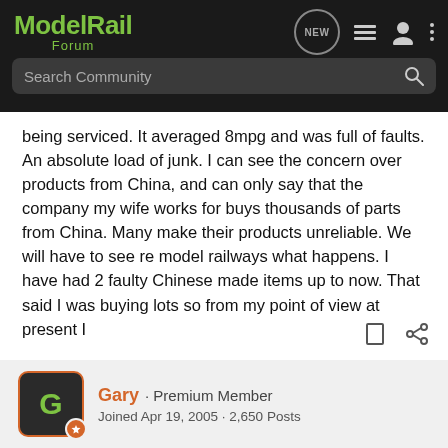ModelRail Forum
being serviced. It averaged 8mpg and was full of faults. An absolute load of junk. I can see the concern over products from China, and can only say that the company my wife works for buys thousands of parts from China. Many make their products unreliable. We will have to see re model railways what happens. I have had 2 faulty Chinese made items up to now. That said I was buying lots so from my point of view at present I think we may be OK.
Gary · Premium Member
Joined Apr 19, 2005 · 2,650 Posts